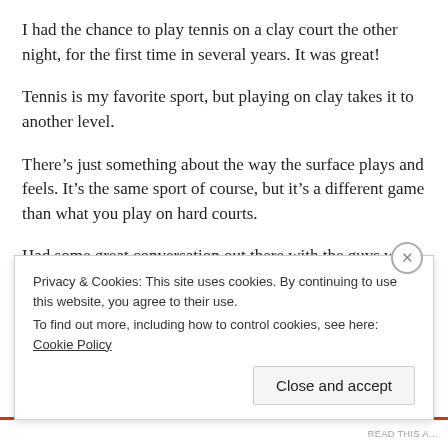I had the chance to play tennis on a clay court the other night, for the first time in several years. It was great!
Tennis is my favorite sport, but playing on clay takes it to another level.
There's just something about the way the surface plays and feels. It's the same sport of course, but it's a different game than what you play on hard courts.
Had some great conversation out there with the guys who came out to play. One of them is a lifelong clay court player, two of them had never played on clay before. We all enjoyed it.
Privacy & Cookies: This site uses cookies. By continuing to use this website, you agree to their use.
To find out more, including how to control cookies, see here: Cookie Policy